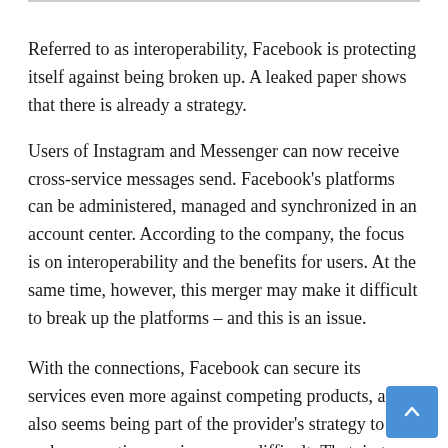Referred to as interoperability, Facebook is protecting itself against being broken up. A leaked paper shows that there is already a strategy.
Users of Instagram and Messenger can now receive cross-service messages send. Facebook's platforms can be administered, managed and synchronized in an account center. According to the company, the focus is on interoperability and the benefits for users. At the same time, however, this merger may make it difficult to break up the platforms – and this is an issue.
With the connections, Facebook can secure its services even more against competing products, and it also seems being part of the provider's strategy to make separating services more difficult. That, in turn, could also influence any